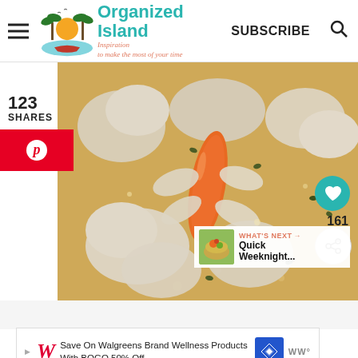Organized Island — Inspiration to make the most of your time | SUBSCRIBE
[Figure (photo): Close-up photo of chicken soup with carrots, chicken pieces, herbs in golden broth]
123
SHARES
[Figure (screenshot): Pinterest save button (red background with P icon)]
[Figure (infographic): Heart button (teal), share count 161, share button overlay on photo]
161
WHAT'S NEXT → Quick Weeknight...
[Figure (screenshot): Walgreens advertisement: Save On Walgreens Brand Wellness Products With BOGO 50% Off]